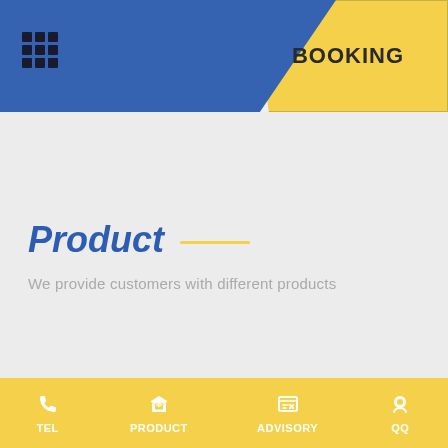[Figure (screenshot): App header with blue and yellow diagonal split. Left blue section has a 3x3 grid menu icon. Right yellow section has BOOKING text in bold.]
Product
We provide customers with different products
TEL  PRODUCT  ADVISORY  QQ